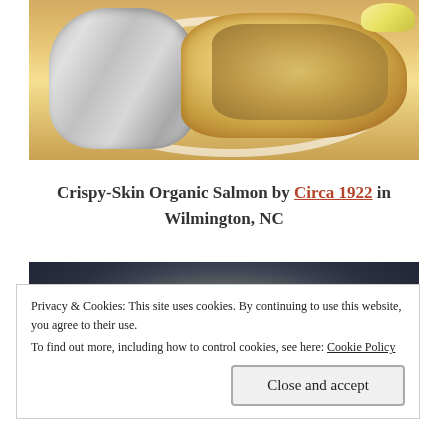[Figure (photo): Photo of a plate with a foil-wrapped item and a crispy-skin fish fillet with herbs and a lemon wedge]
Crispy-Skin Organic Salmon by Circa 1922 in Wilmington, NC
[Figure (photo): Photo of a dark cast-iron skillet or pan viewed from above]
Privacy & Cookies: This site uses cookies. By continuing to use this website, you agree to their use. To find out more, including how to control cookies, see here: Cookie Policy
Close and accept